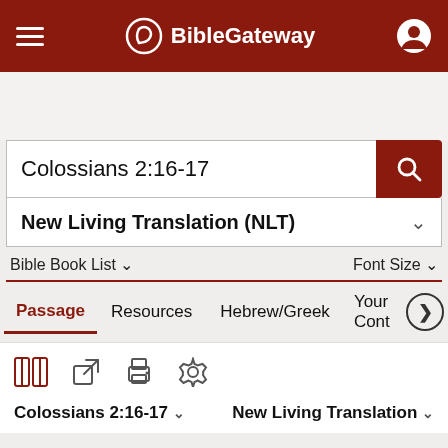BibleGateway
Colossians 2:16-17
New Living Translation (NLT)
Bible Book List   Font Size
Passage   Resources   Hebrew/Greek   Your Cont
Colossians 2:16-17   New Living Translation